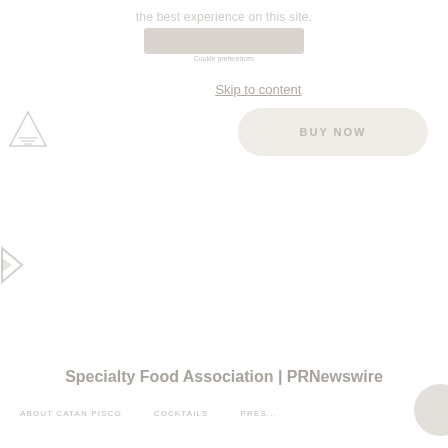the best experience on this site.
[Figure (other): Cookie consent bar with accept/settings buttons]
Skip to content
[Figure (logo): Triangular logo mark with diagonal lines]
[Figure (other): BUY NOW button, rounded rectangle, beige/cream color]
[Figure (other): Navigation arrow pointing right, left edge of page]
Specialty Food Association | PRNewswire
ABOUT CATAN PISCO
COCKTAILS
PRES...